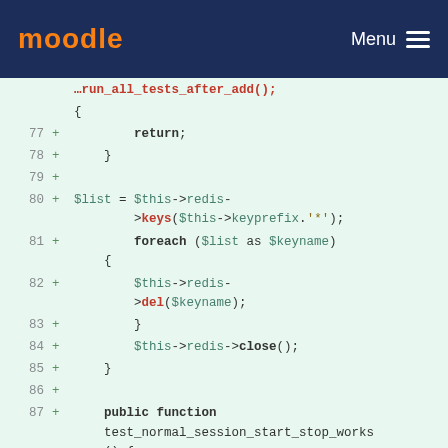moodle  Menu
[Figure (screenshot): Code diff snippet showing PHP code lines 77-89 with line numbers, plus signs indicating additions, on a light green background. Code includes return statement, $list = $this->redis->keys(), foreach loop, $this->redis->del(), $this->redis->close(), public function test_normal_session_start_stop_works(), and $sess = new \core\session\redis();]